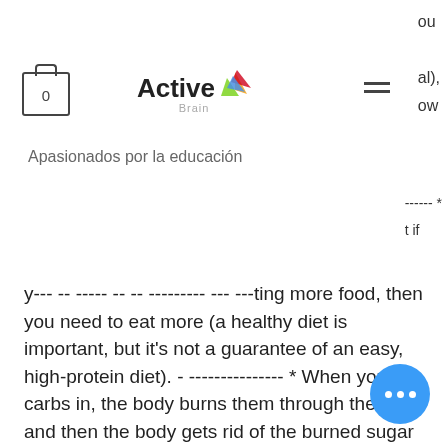Active Brain — Apasionados por la educación
you're going to be exercising and eating more food, then you need to eat more (a healthy diet is important, but it's not a guarantee of an easy, high-protein diet). - --------------- * When you put carbs in, the body burns them through the liver and then the body gets rid of the burned sugar by breaking it down into hydrogen and water. The liver will make ketones which are a good energy source during exercise, dianabol eesti. That's the important part, xt ostarine sarm. If the liver is not able to produce a lot of ketones, you're going to have problems with glycogen. --------------- * When it's over (like after the workout), the